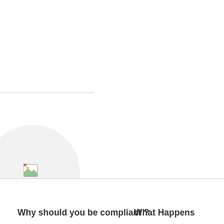[Figure (illustration): Broken/missing image placeholder shown inside a light gray circle on the left panel of a card-style layout]
Why should you be compliant ?
What Happens